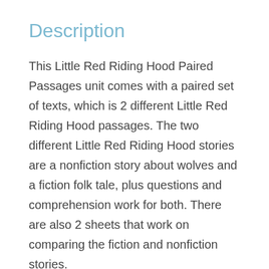Description
This Little Red Riding Hood Paired Passages unit comes with a paired set of texts, which is 2 different Little Red Riding Hood passages. The two different Little Red Riding Hood stories are a nonfiction story about wolves and a fiction folk tale, plus questions and comprehension work for both. There are also 2 sheets that work on comparing the fiction and nonfiction stories.